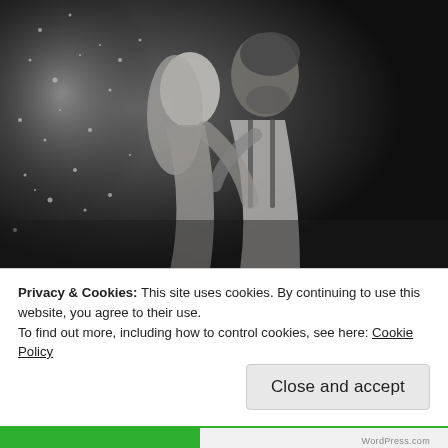[Figure (photo): Black and white photograph of a couple kissing passionately against a textured dark wall with water droplets or sparkles in the background. The woman has long light hair, the man has a beard and is wearing a white shirt and suspenders.]
Privacy & Cookies: This site uses cookies. By continuing to use this website, you agree to their use.
To find out more, including how to control cookies, see here: Cookie Policy
Close and accept